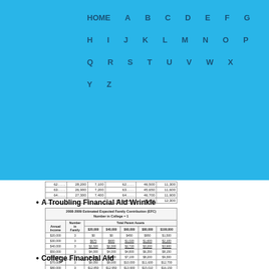HOME A B C D E F G H I J K L M N O P Q R S T U V W X Y Z
| Annual Income | Number in Family | $20,000 | $40,000 | $60,000 | $80,000 | $100,000 |
| --- | --- | --- | --- | --- | --- | --- |
| $20,000 | 3 | $0 | $0 | $450 | $950 | $1,500 |
| $30,000 | 3 | $670 | $600 | $1,020 | $1,600 | $2,100 |
| $40,000 | 3 | $2,320 | $2,300 | $2,720 | $3,200 | $3,900 |
| $50,000 | 3 | $4,000 | $4,000 | $4,800 | $6,350 | $8,150 |
| $60,000 | 3 | $6,350 | $6,300 | $7,100 | $8,200 | $9,300 |
| $70,000 | 3 | $9,050 | $9,000 | $10,000 | $11,600 | $12,700 |
| $80,000 | 3 | $12,850 | $12,950 | $13,900 | $15,010 | $16,150 |
| $90,000 | 3 | $16,100 | $16,100 | $17,050 | $18,150 | $19,300 |
| $100,000 | 3 | $19,100 | $19,100 | $20,050 | $21,100 | $22,300 |
| $110,000 | 3 | $22,300 | $22,300 | $23,250 | $24,400 | $25,500 |
| $120,000 | 3 | $25,550 | $25,550 | $26,500 | $27,600 | $28,750 |
| $130,000 | 3 | $28,750 | $28,750 | $29,700 | $30,850 | $31,950 |
| $140,000 | 3 | $32,000 | $32,000 | $32,900 | $34,050 | $35,200 |
| $150,000 | 3 | $35,200 | $35,200 | $36,150 | $37,250 | $38,400 |
A Troubling Financial Aid Wrinkle
College Financial Aid